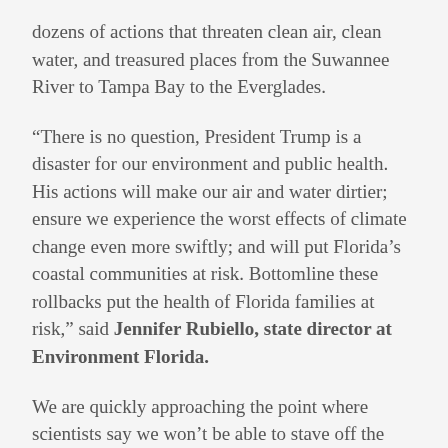dozens of actions that threaten clean air, clean water, and treasured places from the Suwannee River to Tampa Bay to the Everglades.
“There is no question, President Trump is a disaster for our environment and public health. His actions will make our air and water dirtier; ensure we experience the worst effects of climate change even more swiftly; and will put Florida’s coastal communities at risk. Bottomline these rollbacks put the health of Florida families at risk,” said Jennifer Rubiello, state director at Environment Florida.
We are quickly approaching the point where scientists say we won’t be able to stave off the